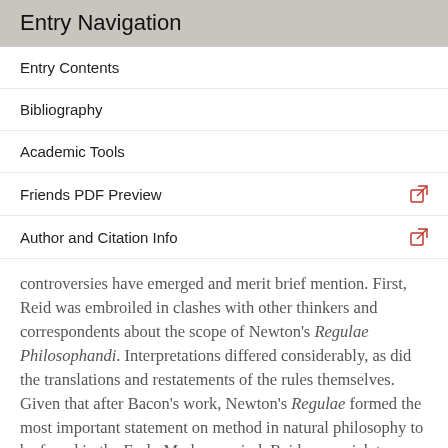Entry Navigation
Entry Contents
Bibliography
Academic Tools
Friends PDF Preview
Author and Citation Info
controversies have emerged and merit brief mention. First, Reid was embroiled in clashes with other thinkers and correspondents about the scope of Newton's Regulae Philosophandi. Interpretations differed considerably, as did the translations and restatements of the rules themselves. Given that after Bacon's work, Newton's Regulae formed the most important statement on method in natural philosophy to be found in the Early Modern period, Reid was quick to defend his interpretation of these rules against alternate uses by Priestley and others.
Reid translates Newton's first rule from Latin as “No